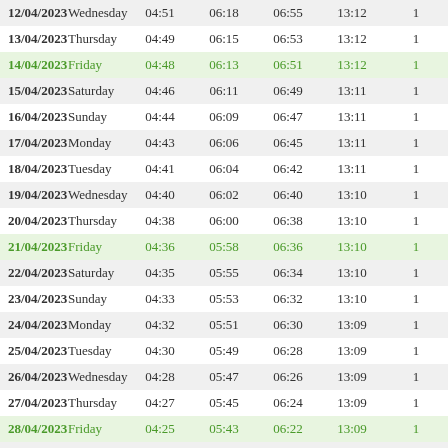| Date | Day | Col3 | Col4 | Col5 | Col6 | Col7 |
| --- | --- | --- | --- | --- | --- | --- |
| 12/04/2023 | Wednesday | 04:51 | 06:18 | 06:55 | 13:12 | 1 |
| 13/04/2023 | Thursday | 04:49 | 06:15 | 06:53 | 13:12 | 1 |
| 14/04/2023 | Friday | 04:48 | 06:13 | 06:51 | 13:12 | 1 |
| 15/04/2023 | Saturday | 04:46 | 06:11 | 06:49 | 13:11 | 1 |
| 16/04/2023 | Sunday | 04:44 | 06:09 | 06:47 | 13:11 | 1 |
| 17/04/2023 | Monday | 04:43 | 06:06 | 06:45 | 13:11 | 1 |
| 18/04/2023 | Tuesday | 04:41 | 06:04 | 06:42 | 13:11 | 1 |
| 19/04/2023 | Wednesday | 04:40 | 06:02 | 06:40 | 13:10 | 1 |
| 20/04/2023 | Thursday | 04:38 | 06:00 | 06:38 | 13:10 | 1 |
| 21/04/2023 | Friday | 04:36 | 05:58 | 06:36 | 13:10 | 1 |
| 22/04/2023 | Saturday | 04:35 | 05:55 | 06:34 | 13:10 | 1 |
| 23/04/2023 | Sunday | 04:33 | 05:53 | 06:32 | 13:10 | 1 |
| 24/04/2023 | Monday | 04:32 | 05:51 | 06:30 | 13:09 | 1 |
| 25/04/2023 | Tuesday | 04:30 | 05:49 | 06:28 | 13:09 | 1 |
| 26/04/2023 | Wednesday | 04:28 | 05:47 | 06:26 | 13:09 | 1 |
| 27/04/2023 | Thursday | 04:27 | 05:45 | 06:24 | 13:09 | 1 |
| 28/04/2023 | Friday | 04:25 | 05:43 | 06:22 | 13:09 | 1 |
| 29/04/2023 | Saturday | 04:24 | 05:41 | 06:21 | 13:09 | 1 |